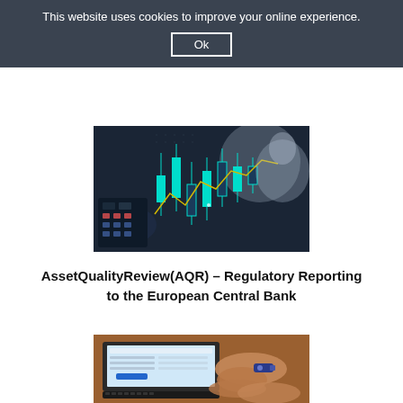This website uses cookies to improve your online experience.
Ok
[Figure (photo): Candlestick stock market chart displayed on a screen, with teal/cyan colored candlesticks against a dark background. A person is visible in the background.]
AssetQualityReview(AQR) – Regulatory Reporting to the European Central Bank
[Figure (photo): A person typing on a laptop keyboard with a token/USB key in hand. A form or web page is visible on the laptop screen.]